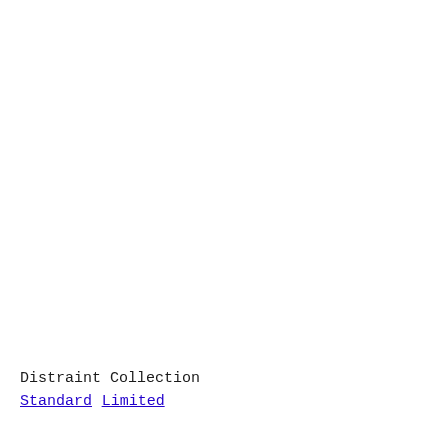Distraint Collection
Standard
Limited